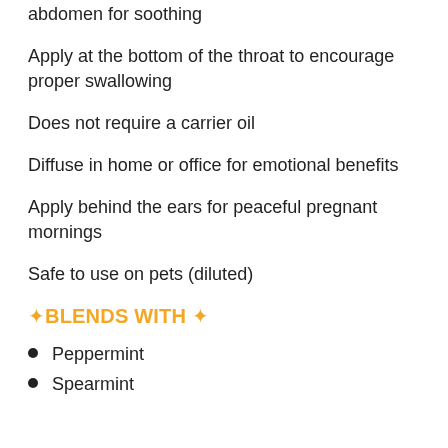Apply plenty... abdomen for soothing
Apply at the bottom of the throat to encourage proper swallowing
Does not require a carrier oil
Diffuse in home or office for emotional benefits
Apply behind the ears for peaceful pregnant mornings
Safe to use on pets (diluted)
✦ BLENDS WITH ✦
Peppermint
Spearmint